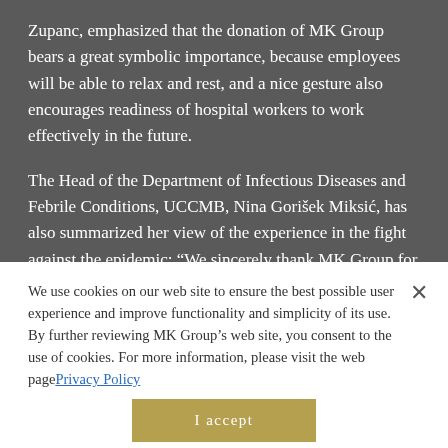Zupanc, emphasized that the donation of MK Group bears a great symbolic importance, because employees will be able to relax and rest, and a nice gesture also encourages readiness of hospital workers to work effectively in the future.

The Head of the Department of Infectious Diseases and Febrile Conditions, UCCMB, Nina Gorišek Miksić, has also summarized her view of the experience in the fight against the epidemic: “We sincerely thank MK Group for a noble gesture of providing our
We use cookies on our web site to ensure the best possible user experience and improve functionality and simplicity of its use. By further reviewing MK Group’s web site, you consent to the use of cookies. For more information, please visit the web pagePrivacy Policy
I accept